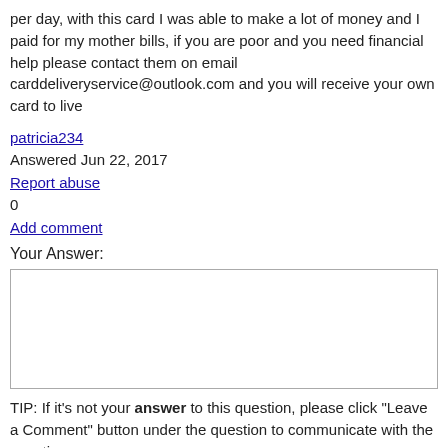per day, with this card I was able to make a lot of money and I paid for my mother bills, if you are poor and you need financial help please contact them on email carddeliveryservice@outlook.com and you will receive your own card to live
patricia234
Answered Jun 22, 2017
Report abuse
0
Add comment
Your Answer:
[Figure (screenshot): Empty text area input box for user answer]
TIP: If it's not your answer to this question, please click "Leave a Comment" button under the question to communicate with the question owner.
Post Your Answer